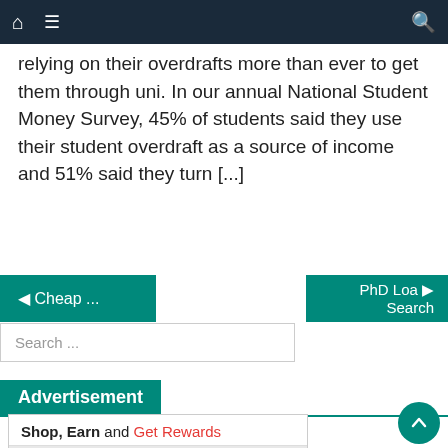Navigation bar with home, menu, and search icons
relying on their overdrafts more than ever to get them through uni. In our annual National Student Money Survey, 45% of students said they use their student overdraft as a source of income and 51% said they turn [...]
◄ Cheap ...
PhD Loa ►
Search
Search ...
Advertisement
[Figure (other): Advertisement banner: 'Shop, Earn and Get Rewards' with '*See site for details.' and image of young women]
[Figure (other): Scroll to top circular button with upward arrow]